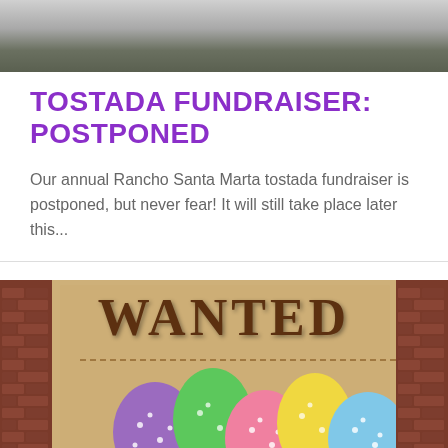[Figure (photo): Top portion of a black and white photo showing leaves or floral arrangement, cropped at the top of the page]
TOSTADA FUNDRAISER: POSTPONED
Our annual Rancho Santa Marta tostada fundraiser is postponed, but never fear! It will still take place later this...
[Figure (photo): A 'WANTED' poster style image on aged parchment background with brick walls on sides, featuring five colorful Easter eggs (purple, green, pink, yellow, blue) in the foreground]